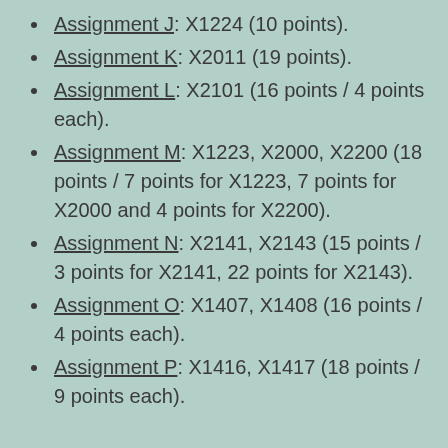Assignment J: X1224 (10 points).
Assignment K: X2011 (19 points).
Assignment L: X2101 (16 points / 4 points each).
Assignment M: X1223, X2000, X2200 (18 points / 7 points for X1223, 7 points for X2000 and 4 points for X2200).
Assignment N: X2141, X2143 (15 points / 3 points for X2141, 22 points for X2143).
Assignment O: X1407, X1408 (16 points / 4 points each).
Assignment P: X1416, X1417 (18 points / 9 points each).